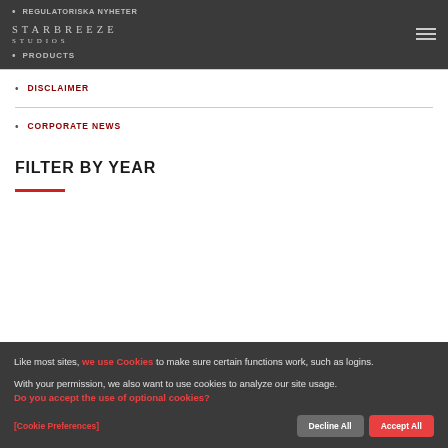REGULATORISKA NYHETER
[Figure (logo): Starbreeze Studios logo text in serif font]
PRODUCTS
DISCLAIMER
CORPORATE NEWS
FILTER BY YEAR
Like most sites, we use Cookies to make sure certain functions work, such as logins.
With your permission, we also want to use cookies to analyze our site usage. Do you accept the use of optional cookies?
[Cookie Preferences]
Decline All
Accept All